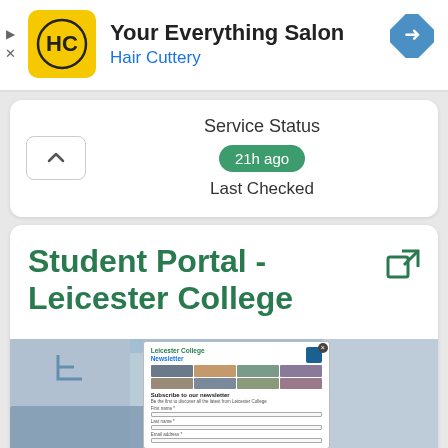[Figure (screenshot): Hair Cuttery advertisement banner with logo, 'Your Everything Salon' title, 'Hair Cuttery' subtitle in blue, and navigation icon]
Service Status
21h ago
Last Checked
Student Portal - Leicester College
[Figure (screenshot): Screenshot of Leicester College Student Portal showing newsletter subscription popup with photo grid and form fields]